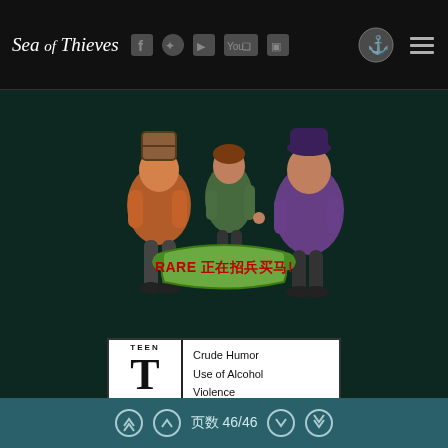Sea of Thieves — navigation header with social icons
[Figure (illustration): Three video game characters (pirates) standing together with a green banner reading 'RARE 正在招兵买马!' in front of them. Dark teal background.]
[Figure (infographic): ESRB rating box: TEEN T rating with descriptors: Crude Humor, Use of Alcohol, Violence]
[Figure (logo): Rare studio logo — white stylized R on dark background with 'RARE' text below]
[Figure (logo): Xbox Game Studios logo — Xbox sphere icon and text 'XBOX GAME STUDIOS']
页数 46/46